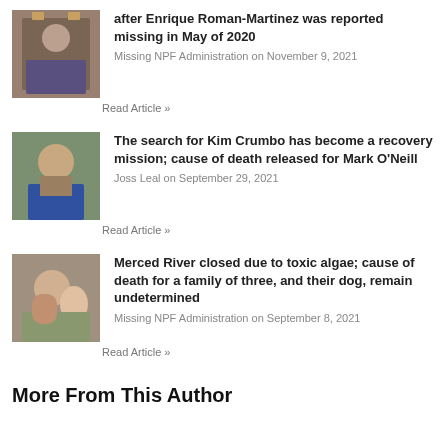after Enrique Roman-Martinez was reported missing in May of 2020
Missing NPF Administration on November 9, 2021
Read Article »
The search for Kim Crumbo has become a recovery mission; cause of death released for Mark O'Neill
Joss Leal on September 29, 2021
Read Article »
Merced River closed due to toxic algae; cause of death for a family of three, and their dog, remain undetermined
Missing NPF Administration on September 8, 2021
Read Article »
More From This Author